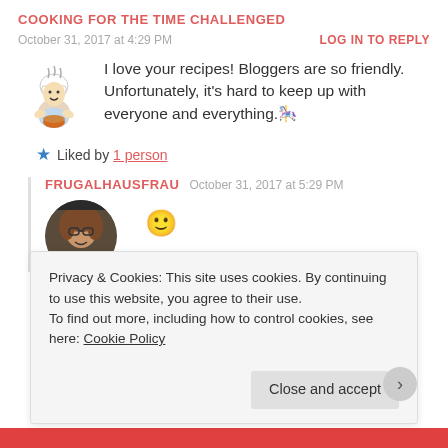COOKING FOR THE TIME CHALLENGED
October 31, 2017 at 4:29 PM
LOG IN TO REPLY
I love your recipes! Bloggers are so friendly. Unfortunately, it's hard to keep up with everyone and everything. 🎠
Liked by 1 person
FRUGALHAUSFRAU   October 31, 2017 at 5:29 PM
🙂
Privacy & Cookies: This site uses cookies. By continuing to use this website, you agree to their use.
To find out more, including how to control cookies, see here: Cookie Policy
Close and accept